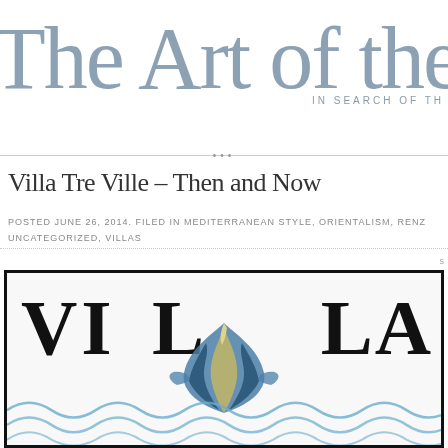The Art of the
IN SEARCH OF TH
Villa Tre Ville – Then and Now
POSTED JUNE 26, 2014. FILED IN MEDITERRANEAN STYLE, ORIENTALISM, RENZ UNCATEGORIZED, VILLAS
[Figure (illustration): Illustrated sign or tile reading VILLA with a decorative blue and gold bird/mermaid tail in the center, surrounded by stylized blue waves at the bottom, on a white background with a thick black border frame.]